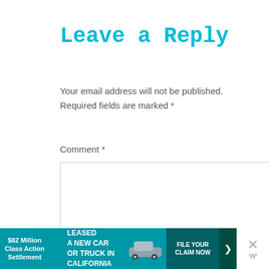Leave a Reply
Your email address will not be published.
Required fields are marked *
Comment *
[Figure (screenshot): A comment text area input box (empty), with a red heart like button showing count 1, a share button, and a 'What's Next' panel showing 'How to Make Colored Sugar']
[Figure (infographic): Advertisement banner: $82 Million Class Action Settlement - IF YOU BOUGHT OR LEASED A NEW CAR OR TRUCK IN CALIFORNIA FROM 2001 - 2003, FILE YOUR CLAIM NOW]